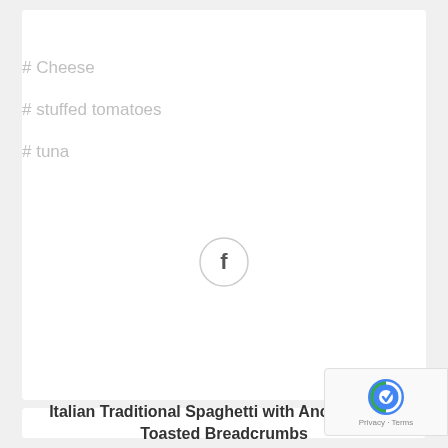# Cheese
# stuffed tomatoes
# tuna
[Figure (logo): Facebook social share button — circle outline with letter f inside]
Italian Traditional Spaghetti with Anchovy and Toasted Breadcrumbs
[Figure (logo): reCAPTCHA badge with Privacy and Terms links]